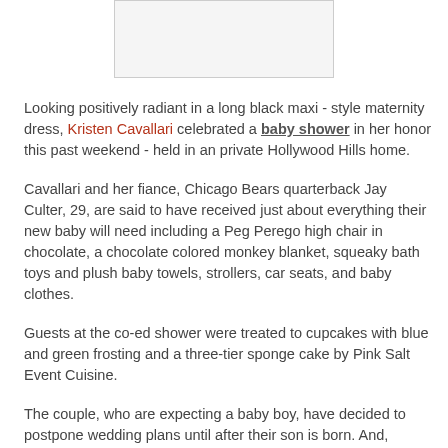[Figure (photo): Image placeholder at top center of page]
Looking positively radiant in a long black maxi - style maternity dress, Kristen Cavallari celebrated a baby shower in her honor this past weekend - held in an private Hollywood Hills home.
Cavallari and her fiance, Chicago Bears quarterback Jay Culter, 29, are said to have received just about everything their new baby will need including a Peg Perego high chair in chocolate, a chocolate colored monkey blanket, squeaky bath toys and plush baby towels, strollers, car seats, and baby clothes.
Guests at the co-ed shower were treated to cupcakes with blue and green frosting and a three-tier sponge cake by Pink Salt Event Cuisine.
The couple, who are expecting a baby boy, have decided to postpone wedding plans until after their son is born. And, according to Cavallari, the expectant parents are already